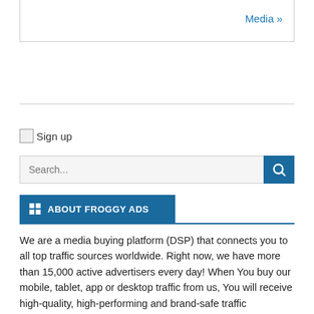Media »
[Figure (illustration): Sign up icon/image (broken image placeholder with alt text 'Sign up')]
Sign up
Search...
ABOUT FROGGY ADS
We are a media buying platform (DSP) that connects you to all top traffic sources worldwide. Right now, we have more than 15,000 active advertisers every day! When You buy our mobile, tablet, app or desktop traffic from us, You will receive high-quality, high-performing and brand-safe traffic